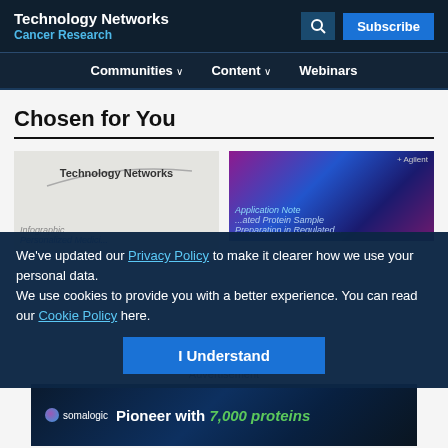Technology Networks / Cancer Research
Chosen for You
[Figure (screenshot): Two content cards side by side: left card shows Technology Networks logo on grey background; right card shows DNA/molecular imagery in purple/blue tones]
We've updated our Privacy Policy to make it clearer how we use your personal data.
We use cookies to provide you with a better experience. You can read our Cookie Policy here.
I Understand
Infographic
Personalized Medici...
Application Note
...ated Protein Sample Preparation in Regulated...
Advertisement
[Figure (infographic): Somalogic advertisement banner: dark ocean background, somalogic logo, text reads 'Pioneer with 7,000 proteins' with 7,000 proteins in green italic]